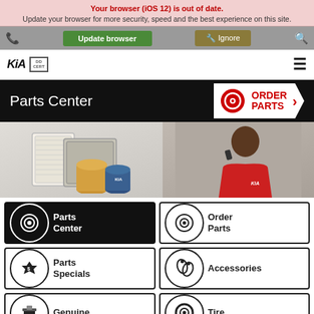Update your browser for more security, speed and the best experience on this site.
[Figure (screenshot): Browser update warning banner with Update browser and Ignore buttons]
[Figure (logo): Kia dealership logo and dealer certification badge in navigation bar]
Parts Center
[Figure (screenshot): ORDER PARTS button with brake disc icon in red and white]
[Figure (photo): Photo showing car filters (cabin air filter, oil filter, air filter) on left, and a Kia service representative in red polo shirt on phone on right]
[Figure (screenshot): Navigation grid with Parts Center, Order Parts, Parts Specials, Accessories, Genuine (partial), Tire (partial) buttons]